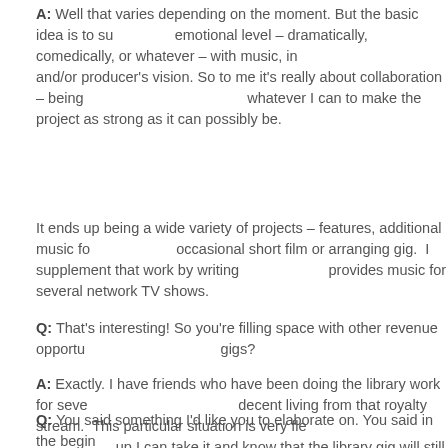A: Well that varies depending on the moment. But the basic idea is to support the emotional level – dramatically, comedically, or whatever – with music, in line with the director and/or producer's vision. So to me it's really about collaboration – being a team player and doing whatever I can to make the project as strong as it can possibly be.
It ends up being a wide variety of projects – features, additional music for TV, and the occasional short film or arranging gig.  I supplement that work by writing library music for a company that provides music for several network TV shows.
Q: That's interesting! So you're filling space with other revenue opportunities, like the library gigs?
A: Exactly. I have friends who have been doing the library work for several years and making a decent living from that royalty stream.  This particular situation is very flexible too, so when work shows up I can take it and know that the library gig will still be there after the project is over.  Plus it keeps my chops sharp and forces me to write in a variety of styles at a good pace.
Q: You said something I'd like you to elaborate on. You said in the begin